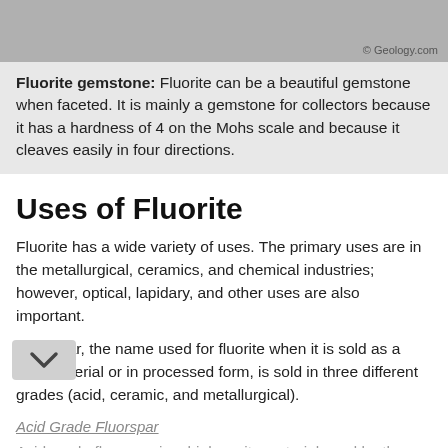[Figure (photo): Photograph of a fluorite gemstone, partially visible at top of page]
Fluorite gemstone: Fluorite can be a beautiful gemstone when faceted. It is mainly a gemstone for collectors because it has a hardness of 4 on the Mohs scale and because it cleaves easily in four directions.
Uses of Fluorite
Fluorite has a wide variety of uses. The primary uses are in the metallurgical, ceramics, and chemical industries; however, optical, lapidary, and other uses are also important.
Fluorspar, the name used for fluorite when it is sold as a bulk material or in processed form, is sold in three different grades (acid, ceramic, and metallurgical).
Acid Grade Fluorspar
Acid grade fluorspar is a high-purity material used by the chemical industry. It contains over 97% CaF₂